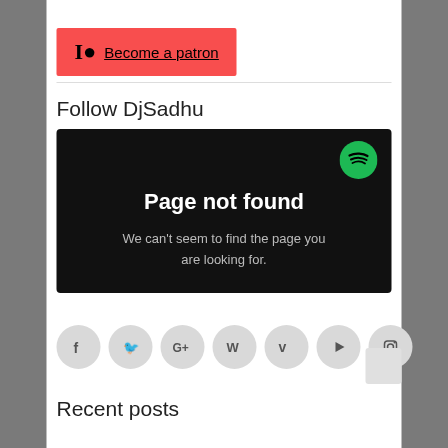[Figure (logo): Patreon 'Become a patron' button with red background, Patreon logo icon, and underlined text]
Follow DjSadhu
[Figure (screenshot): Spotify error page on black background: large bold white text 'Page not found', smaller grey text 'We can't seem to find the page you are looking for.', Spotify green logo in top-right corner]
[Figure (infographic): Row of 7 circular social media icon buttons (Facebook, Twitter, Google+, WordPress, Vimeo, YouTube, Instagram) on light grey circles]
Recent posts